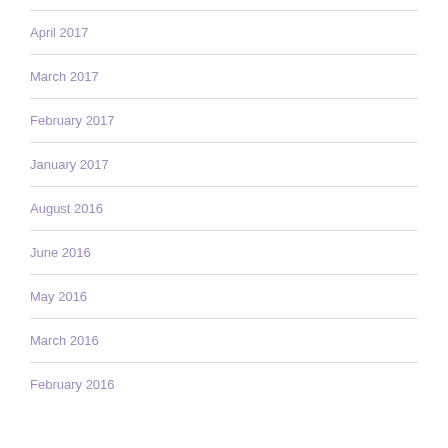April 2017
March 2017
February 2017
January 2017
August 2016
June 2016
May 2016
March 2016
February 2016